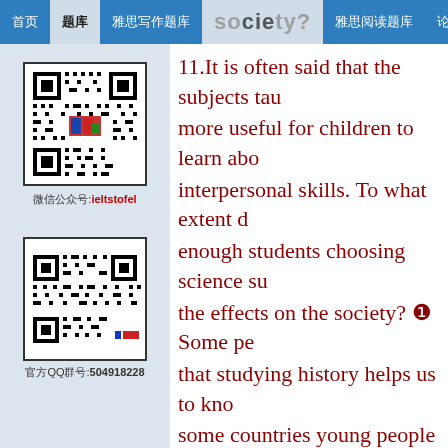首页 | 题库 | 雅思写作题库 | 雅思口语题库 society? | 雅思阅读题库 | 论坛
[Figure (other): QR code image for ieltstofel WeChat account]
微信公众号:ieltstofel
[Figure (other): QR code image for QQ group 504918228]
官方QQ群号:504918228
11.It is often said that the subjects tau more useful for children to learn abo interpersonal skills. To what extent d enough students choosing science su the effects on the society? Some pe that studying history helps us to kno some countries young people are enc and starting university studies. Discu to do this.Financial education shoul do you agree or disagree with this st 12.Nowadays, many people are using on individuals and society. With the to write letters. The number of peopl disappear soon. Do you agree or dis countries, TV programs are transmit TV transmission is a positive dev